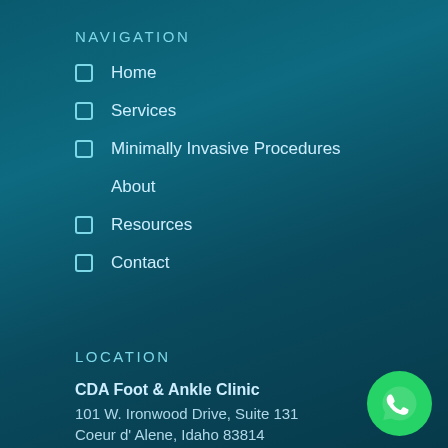NAVIGATION
Home
Services
Minimally Invasive Procedures
About
Resources
Contact
LOCATION
CDA Foot & Ankle Clinic
101 W. Ironwood Drive, Suite 131
Coeur d' Alene, Idaho 83814
[Figure (logo): WhatsApp button icon - green circle with white phone handset]